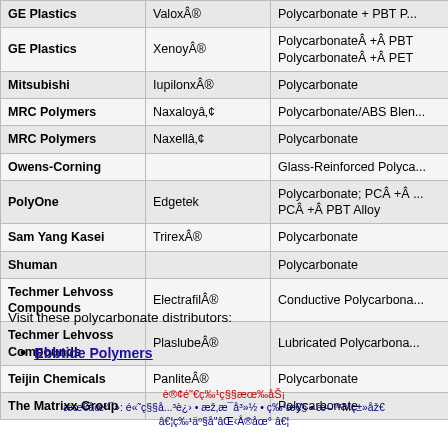| Company | Brand | Material |
| --- | --- | --- |
| GE Plastics | ValoxÂ® | Polycarbonate + PBT P... |
| GE Plastics | XenoyÂ® | PolycarbonateÂ +Â PBT PolycarbonateÂ +Â PET |
| Mitsubishi | IupilonxÂ® | Polycarbonate |
| MRC Polymers | Naxaloyâ‚¢ | Polycarbonate/ABS Blen... |
| MRC Polymers | Naxellâ‚¢ | Polycarbonate |
| Owens-Corning |  | Glass-Reinforced Polyca... |
| PolyOne | Edgetek | Polycarbonate; PCÂ +Â ... PCÂ +Â PBT Alloy |
| Sam Yang Kasei | TrirexÂ® | Polycarbonate |
| Shuman |  | Polycarbonate |
| Techmer Lehvoss Compounds | ElectrafilÂ® | Conductive Polycarbona... |
| Techmer Lehvoss Compounds | PlaslubeÂ® | Lubricated Polycarbona... |
| Teijin Chemicals | PanliteÂ® | Polycarbonate |
| The Matrixx Group |  | Polycarbonate |
Visit these polycarbonate distributors:
Ebbtide Polymers
è®¢é˜...ç‰¹ç§§æœ¡åŠ¡ æ​œæå¯»: é«˜ç§§å...³è¿› • æž‚æ​​¯ā»½ • ç‰¹æ€§ • æ​​æ–™Mç±»åž€